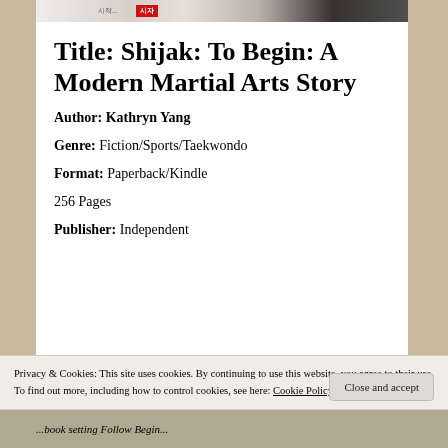[Figure (photo): Book cover image strip showing partial cover of Shijak with Korean text and red badge]
Title:  Shijak: To Begin: A Modern Martial Arts Story
Author:   Kathryn Yang
Genre:  Fiction/Sports/Taekwondo
Format: Paperback/Kindle
256 Pages
Publisher:  Independent
Privacy & Cookies: This site uses cookies. By continuing to use this website, you agree to their use.
To find out more, including how to control cookies, see here: Cookie Policy
Close and accept